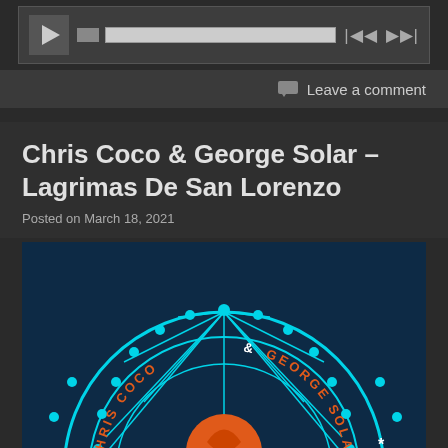[Figure (screenshot): Audio media player with play button, progress bar, and forward/rewind controls]
Leave a comment
Chris Coco & George Solar – Lagrimas De San Lorenzo
Posted on March 18, 2021
[Figure (illustration): Album art for Chris Coco & George Solar showing a circular wheel/compass design in cyan on dark blue background with orange text reading CHRIS COCO & GEORGE SOLAR around the arc, and an orange fish/bird motif in the center]